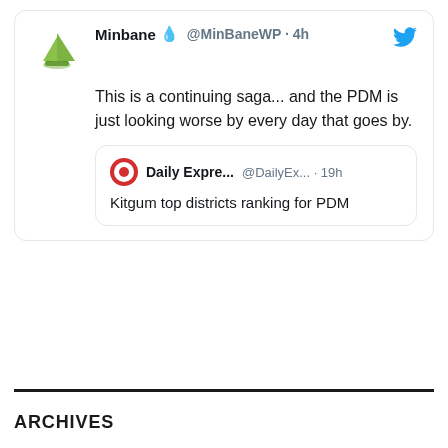[Figure (screenshot): Embedded tweet from @MinBaneWP (Minbane) with water droplet emoji, handle and '4h' timestamp, Twitter bird icon. Tweet text: 'This is a continuing saga... and the PDM is just looking worse by every day that goes by.' Contains a quoted tweet from Daily Expre... @DailyEx... 19h: 'Kitgum top districts ranking for PDM']
ARCHIVES
September 2022
August 2022
July 2022
June 2022